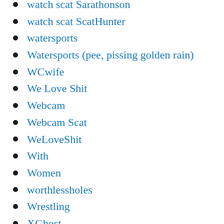watch scat Sarathonson
watch scat ScatHunter
watersports
Watersports (pee, pissing golden rain)
WCwife
We Love Shit
Webcam
Webcam Scat
WeLoveShit
With
Women
worthlessholes
Wrestling
XGhost
xMochaPuffx
Xrussianbeautyx